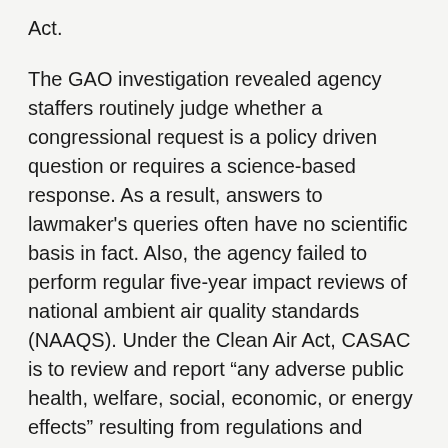Act.
The GAO investigation revealed agency staffers routinely judge whether a congressional request is a policy driven question or requires a science-based response. As a result, answers to lawmaker’s queries often have no scientific basis in fact. Also, the agency failed to perform regular five-year impact reviews of national ambient air quality standards (NAAQS). Under the Clean Air Act, CASAC is to review and report “any adverse public health, welfare, social, economic, or energy effects” resulting from regulations and strategies of NAAQS. According to the GAO, the EPA “has never” instructed CASAC to comply with the federal requirement to review and report.
Members of Congress and the GAO have voiced similar concerns regarding EPA conduct and manner of operational performance.